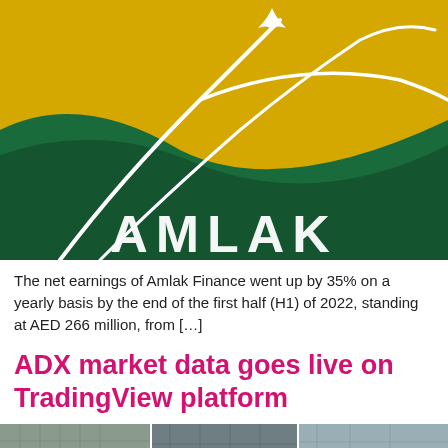[Figure (logo): Amlak Finance logo — yellow upper background with white swooping curved lines and a leaf/diamond shape, lower green wave section, white 'AMLAK' lettering at the bottom]
The net earnings of Amlak Finance went up by 35% on a yearly basis by the end of the first half (H1) of 2022, standing at AED 266 million, from […]
ADX market data goes live on TradingView platform
[Figure (photo): Partial bottom strip photo — appears to show building/city imagery, partially cut off]